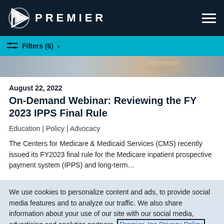[Figure (logo): Premier Inc. logo with triangular icon and PREMIER text in white on dark navy background, with hamburger menu icon on right]
Filters (6) >
[Figure (photo): Partial banner photo showing a person's hands, likely reviewing documents]
August 22, 2022
On-Demand Webinar: Reviewing the FY 2023 IPPS Final Rule
Education | Policy | Advocacy
The Centers for Medicare & Medicaid Services (CMS) recently issued its FY2023 final rule for the Medicare inpatient prospective payment system (IPPS) and long-term…
We use cookies to personalize content and ads, to provide social media features and to analyze our traffic. We also share information about your use of our site with our social media, advertising and analytics partners. Premier, Inc Privacy Policy